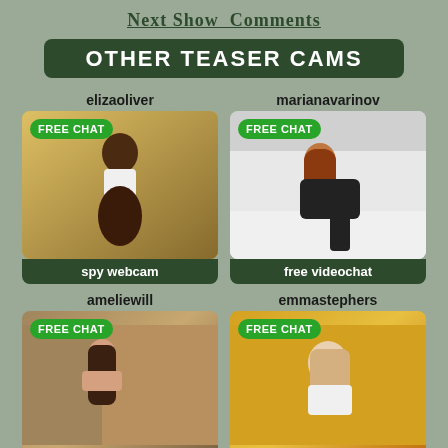Next Show  Comments
OTHER TEASER CAMS
elizaoliver
[Figure (photo): Photo of elizaoliver with FREE CHAT badge]
spy webcam
marianavarinov
[Figure (photo): Photo of marianavarinov with FREE CHAT badge]
free videochat
ameliewill
[Figure (photo): Photo of ameliewill with FREE CHAT badge]
emmastephers
[Figure (photo): Photo of emmastephers with FREE CHAT badge]